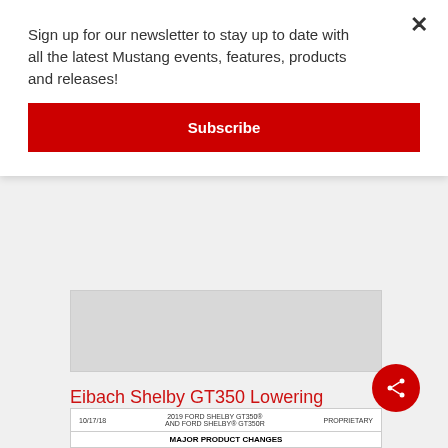Sign up for our newsletter to stay up to date with all the latest Mustang events, features, products and releases!
Subscribe
[Figure (photo): Gray placeholder image block for product photo]
Eibach Shelby GT350 Lowering Springs
[Figure (screenshot): Document snippet showing: 10/17/18 | 2019 FORD SHELBY GT350® AND FORD SHELBY® GT350R | PROPRIETARY | MAJOR PRODUCT CHANGES]